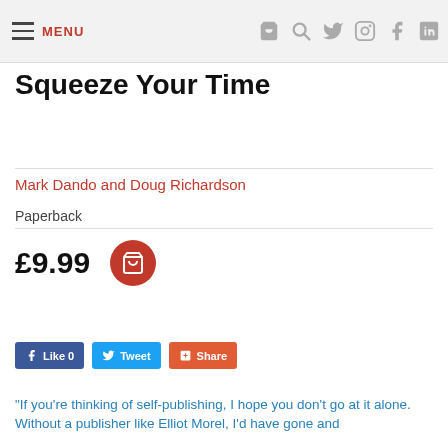MENU
Squeeze Your Time
Mark Dando and Doug Richardson
Paperback
£9.99
Like 0  Tweet  Share
“If you’re thinking of self-publishing, I hope you don’t go at it alone. Without a publisher like Elliot Morel, I’d have gone and